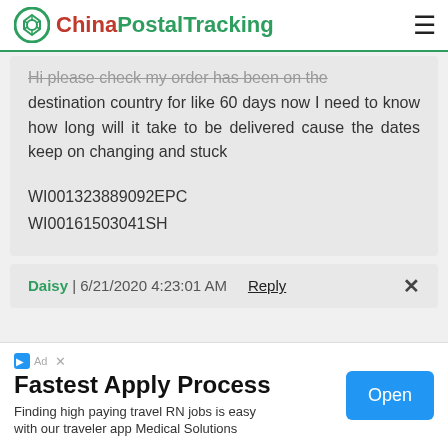ChinaPostalTracking
Hi please check my order has been on the destination country for like 60 days now I need to know how long will it take to be delivered cause the dates keep on changing and stuck

WI001323889092EPC
WI00161503041SH
Daisy | 6/21/2020 4:23:01 AM   Reply
Fastest Apply Process
Finding high paying travel RN jobs is easy with our traveler app Medical Solutions